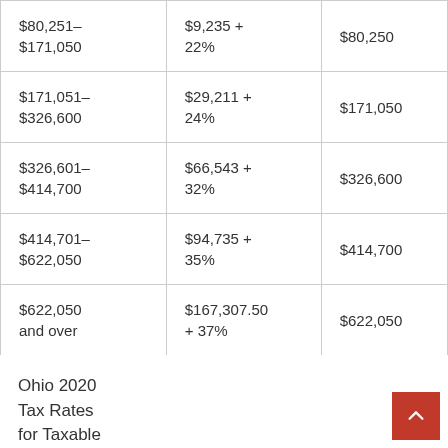| $80,251–$171,050 | $9,235 + 22% | $80,250 |
| $171,051–$326,600 | $29,211 + 24% | $171,050 |
| $326,601–$414,700 | $66,543 + 32% | $326,600 |
| $414,701–$622,050 | $94,735 + 35% | $414,700 |
| $622,050 and over | $167,307.50 + 37% | $622,050 |
Ohio 2020 Tax Rates for Taxable Income...